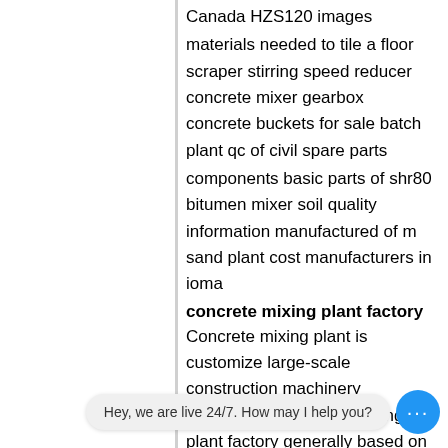Canada HZS120 images
materials needed to tile a floor scraper stirring speed reducer concrete mixer gearbox concrete buckets for sale batch plant qc of civil spare parts
components basic parts of shr80 bitumen mixer soil quality information manufactured of m sand plant cost manufacturers in ioma
concrete mixing plant factory
Concrete mixing plant is customize large-scale construction machinery produced by concrete mixing plant factory generally based on the needs of users. The general design of the service life is 10 years the use of maintenance and repair spare part...
6 attachments to turn your skidsteer int a paving assistant liebherr batch plant wheel loaders for boral low cost wet mix concrete fence wall post machine specification
design new coming used concrete mixer jzc350b